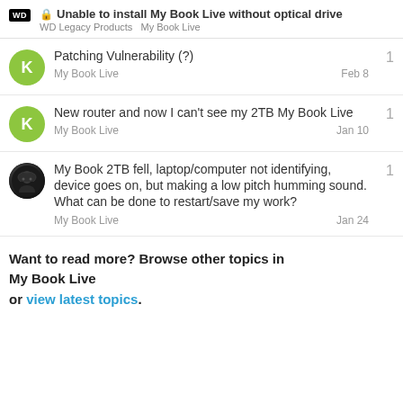Unable to install My Book Live without optical drive | WD Legacy Products > My Book Live
Patching Vulnerability (?) | My Book Live | Feb 8 | 1 reply
New router and now I can't see my 2TB My Book Live | My Book Live | Jan 10 | 1 reply
My Book 2TB fell, laptop/computer not identifying, device goes on, but making a low pitch humming sound. What can be done to restart/save my work? | My Book Live | Jan 24 | 1 reply
Want to read more? Browse other topics in My Book Live or view latest topics.